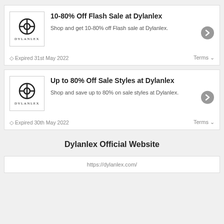[Figure (logo): Dylanlex logo with circular icon and brand name]
10-80% Off Flash Sale at Dylanlex
Shop and get 10-80% off Flash sale at Dylanlex.
Expired 31st May 2022
Terms
[Figure (logo): Dylanlex logo with circular icon and brand name]
Up to 80% Off Sale Styles at Dylanlex
Shop and save up to 80% on sale styles at Dylanlex.
Expired 30th May 2022
Terms
Dylanlex Official Website
https://dylanlex.com/